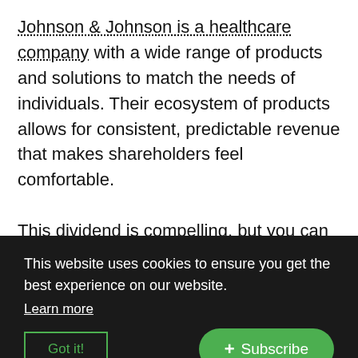Johnson & Johnson is a healthcare company with a wide range of products and solutions to match the needs of individuals. Their ecosystem of products allows for consistent, predictable revenue that makes shareholders feel comfortable.

This dividend is compelling, but you can be the judge of that. The annual dividend currently sits at $4.24 or $1.06 per quarter. This dividend has also been growing for over 58 years consecutively which means Johnson & Johnson is a dividend aristocrat. This is a trait a company can have to prove they care about their shareholders.
This website uses cookies to ensure you get the best experience on our website.
Learn more
Got it!
+ Subscribe